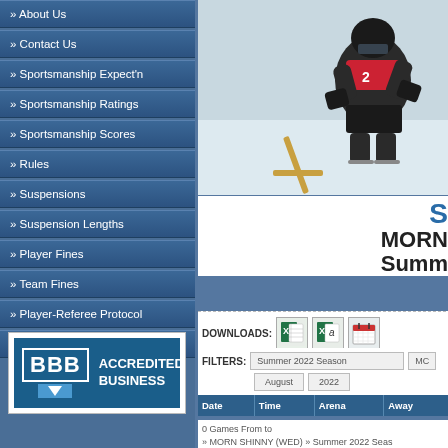» About Us
» Contact Us
» Sportsmanship Expect'n
» Sportsmanship Ratings
» Sportsmanship Scores
» Rules
» Suspensions
» Suspension Lengths
» Player Fines
» Team Fines
» Player-Referee Protocol
» Officials Book-Off Policy
[Figure (logo): BBB Accredited Business logo with shield icon]
[Figure (photo): Hockey player in red and black gear crouching on ice with hockey stick]
S MORN Summ
DOWNLOADS:
FILTERS: Summer 2022 Season  August  2022
| Date | Time | Arena | Away |
| --- | --- | --- | --- |
0 Games From to
» MORN SHINNY (WED) » Summer 2022 Seas